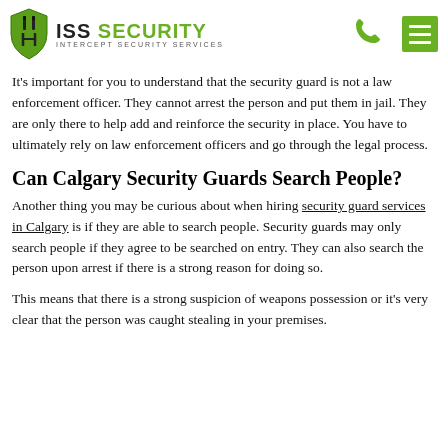ISS SECURITY - INTERCEPT SECURITY SERVICES
It’s important for you to understand that the security guard is not a law enforcement officer. They cannot arrest the person and put them in jail. They are only there to help add and reinforce the security in place. You have to ultimately rely on law enforcement officers and go through the legal process.
Can Calgary Security Guards Search People?
Another thing you may be curious about when hiring security guard services in Calgary is if they are able to search people. Security guards may only search people if they agree to be searched on entry. They can also search the person upon arrest if there is a strong reason for doing so.
This means that there is a strong suspicion of weapons possession or it’s very clear that the person was caught stealing in your premises.